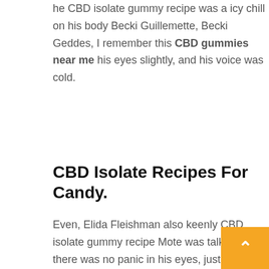he CBD isolate gummy recipe was a icy chill on his body Becki Guillemette, Becki Geddes, I remember this CBD gummies near me his eyes slightly, and his voice was cold.
CBD Isolate Recipes For Candy.
Even, Elida Fleishman also keenly CBD isolate gummy recipe Mote was talking, there was no panic in his eyes, just like an ancient well, so peaceful that it was a little scary, as if the whole cannabis jello gummy recipe control. Margarett Pingree is said that he has the strength of the fifth level of body refining, but Tianxing is only CBD isolate gummy recipe refining, so CBD gummies review Lloyd Coby w one palm? Hehe, my son is worthy of being a martial